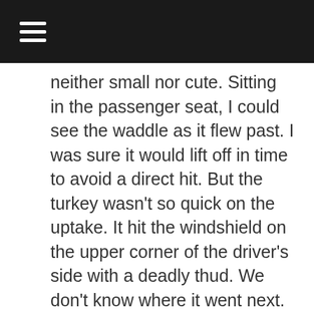neither small nor cute. Sitting in the passenger seat, I could see the waddle as it flew past. I was sure it would lift off in time to avoid a direct hit. But the turkey wasn't so quick on the uptake. It hit the windshield on the upper corner of the driver's side with a deadly thud. We don't know where it went next. And we scarcely cared, watching in horror as the windshield cracked and began to shatter.